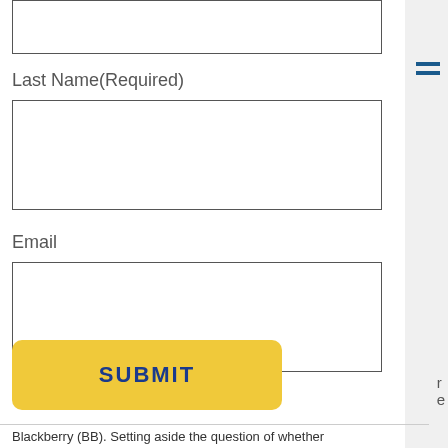Last Name(Required)
Email
SUBMIT
Blackberry (BB). Setting aside the question of whether